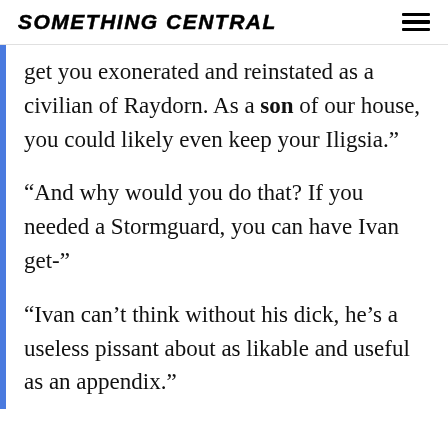SOMETHING CENTRAL
get you exonerated and reinstated as a civilian of Raydorn. As a son of our house, you could likely even keep your Iligsia.”
“And why would you do that? If you needed a Stormguard, you can have Ivan get-”
“Ivan can’t think without his dick, he’s a useless pissant about as likable and useful as an appendix.”